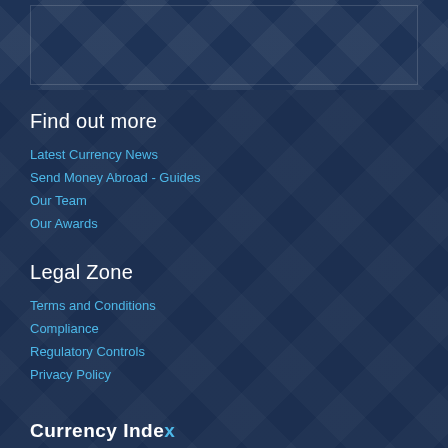[Figure (photo): Dark navy blue decorative header image with geometric line pattern overlay]
Find out more
Latest Currency News
Send Money Abroad - Guides
Our Team
Our Awards
Legal Zone
Terms and Conditions
Compliance
Regulatory Controls
Privacy Policy
[Figure (logo): Currency Index logo in white and blue text at bottom of page]